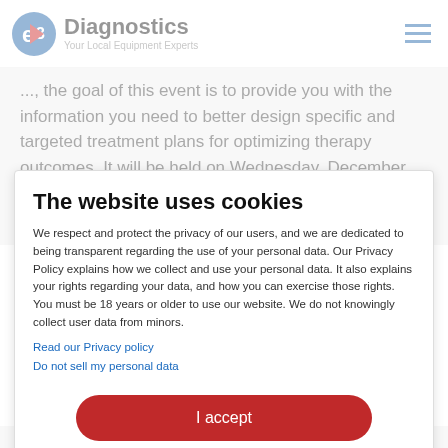e3 Diagnostics — Your Local Equipment Experts
... the goal of this event is to provide you with the information you need to better design specific and targeted treatment plans for optimizing therapy outcomes. It will be held on Wednesday, December 4th at 4:30pm CST and has been approved for 1 hour of continuing education
The website uses cookies
We respect and protect the privacy of our users, and we are dedicated to being transparent regarding the use of your personal data. Our Privacy Policy explains how we collect and use your personal data. It also explains your rights regarding your data, and how you can exercise those rights. You must be 18 years or older to use our website. We do not knowingly collect user data from minors.
Read our Privacy policy
Do not sell my personal data
I accept
Powered by: Cookie Information
outcomes